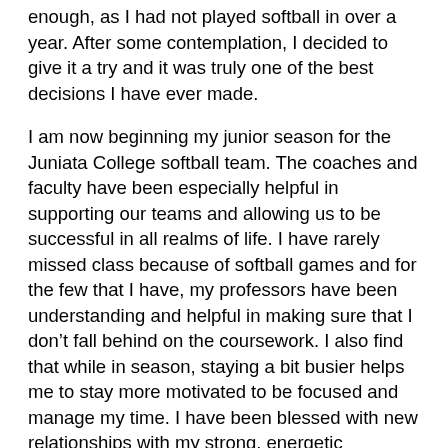enough, as I had not played softball in over a year. After some contemplation, I decided to give it a try and it was truly one of the best decisions I have ever made.
I am now beginning my junior season for the Juniata College softball team. The coaches and faculty have been especially helpful in supporting our teams and allowing us to be successful in all realms of life. I have rarely missed class because of softball games and for the few that I have, my professors have been understanding and helpful in making sure that I don't fall behind on the coursework. I also find that while in season, staying a bit busier helps me to stay more motivated to be focused and manage my time. I have been blessed with new relationships with my strong, energetic teammates and have developed a new appreciation for the benefits of athletics along the way. There is also a great support system of Juniata coaches, trainers, and faculty that have made the experience even more wonderful. The joy and positive energy I get while